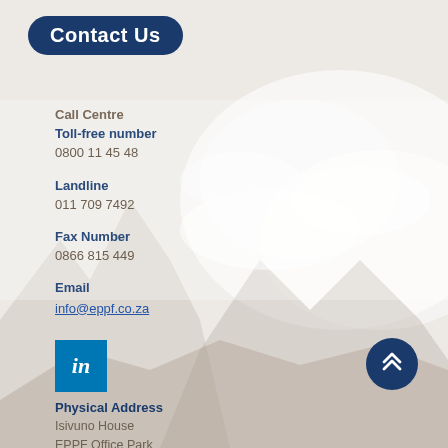Contact Us
Call Centre
Toll-free number
0800 11 45 48
Landline
011 709 7492
Fax Number
0866 815 449
Email
info@eppf.co.za
[Figure (logo): LinkedIn square logo icon in blue]
[Figure (other): Dark blue circular scroll-up button with double chevron arrows]
Physical Address
Isivuno House
EPPF Office Park
24 Georgian Crescent East